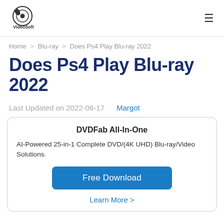VideoSoft [logo] [hamburger menu]
Home > Blu-ray > Does Ps4 Play Blu-ray 2022
Does Ps4 Play Blu-ray 2022
Last Updated on 2022-06-17   Margot
DVDFab All-In-One
AI-Powered 25-in-1 Complete DVD/(4K UHD) Blu-ray/Video Solutions.
Free Download
Learn More >